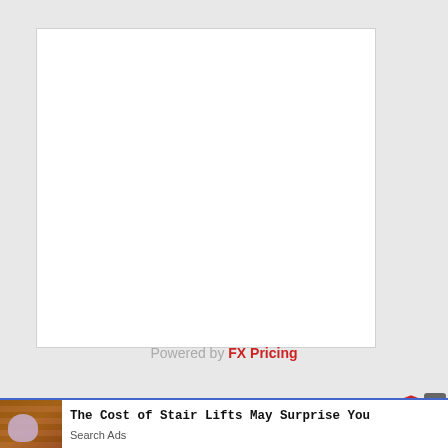[Figure (other): Large white empty box, likely a currency/FX pricing widget placeholder]
Powered by FX Pricing
[Figure (other): Advertisement banner with stair lift photo and text: The Cost of Stair Lifts May Surprise You / Search Ads]